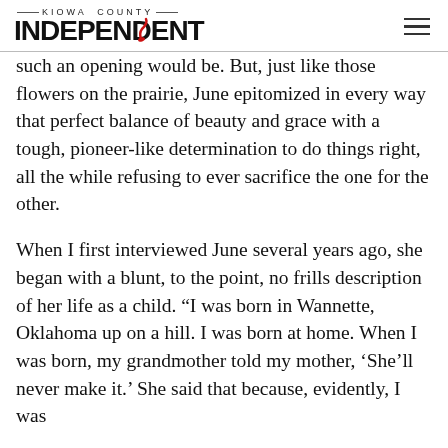KIOWA COUNTY INDEPENDENT
such an opening would be. But, just like those flowers on the prairie, June epitomized in every way that perfect balance of beauty and grace with a tough, pioneer-like determination to do things right, all the while refusing to ever sacrifice the one for the other.
When I first interviewed June several years ago, she began with a blunt, to the point, no frills description of her life as a child. “I was born in Wannette, Oklahoma up on a hill. I was born at home. When I was born, my grandmother told my mother, ‘She’ll never make it.’ She said that because, evidently, I was